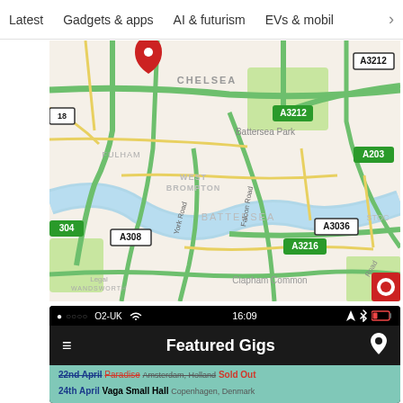Latest   Gadgets & apps   AI & futurism   EVs & mobil  >
[Figure (map): Street map of London showing Chelsea, West Brompton, Battersea, Wandsworth, Clapham Common area with road labels A3212, A3216, A3036, A203, A308, A304, York Road, Falcon Road. Green roads network on beige background with blue River Thames. Red location pin near Chelsea.]
[Figure (screenshot): Mobile app screenshot on black background: status bar showing O2-UK, 16:09, low battery. App header with hamburger menu, 'Featured Gigs' title, and location pin icon. Below: teal/green background with gig listings — 22nd April Paradise Amsterdam Holland Sold Out; 24th April Vaga Small Hall Copenhagen Denmark.]
22nd April  Paradise  Amsterdam, Holland  Sold Out
24th April  Vaga Small Hall  Copenhagen, Denmark